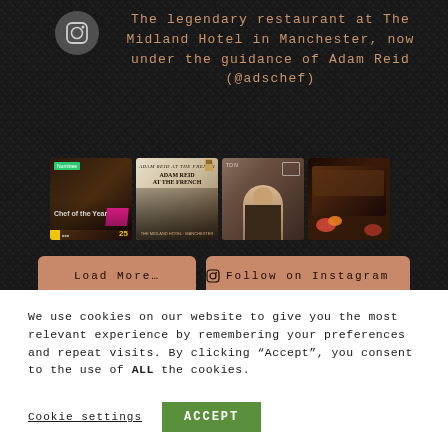[Figure (screenshot): Instagram icon (camera icon) in a grey circle]
The legendary restaurant at The Midland Hotel in Manchester, now under the guidance of Adam Reid (@adschef)
[Figure (photo): Four Instagram thumbnail images: 1) Chef of the Year nominee graphic with chef photo, geometric shapes, and award logo; 2) Adam Reid at The French book/menu cover with dark atmospheric restaurant interior; 3) Chef portrait in kitchen setting with label and copy icon; 4) Dark bread or food on embers/coals]
Load More…
Follow on Instagram
We use cookies on our website to give you the most relevant experience by remembering your preferences and repeat visits. By clicking “Accept”, you consent to the use of ALL the cookies.
Cookie settings
ACCEPT